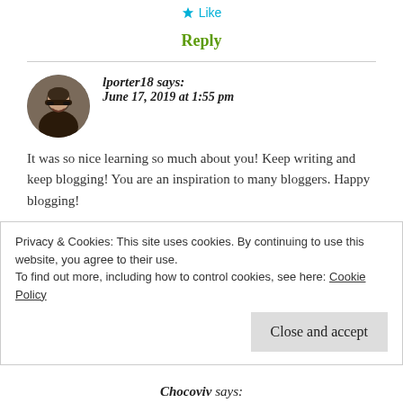Like
Reply
lporter18 says:
June 17, 2019 at 1:55 pm
It was so nice learning so much about you! Keep writing and keep blogging! You are an inspiration to many bloggers. Happy blogging!
Privacy & Cookies: This site uses cookies. By continuing to use this website, you agree to their use.
To find out more, including how to control cookies, see here: Cookie Policy
Close and accept
Chocoviv says: